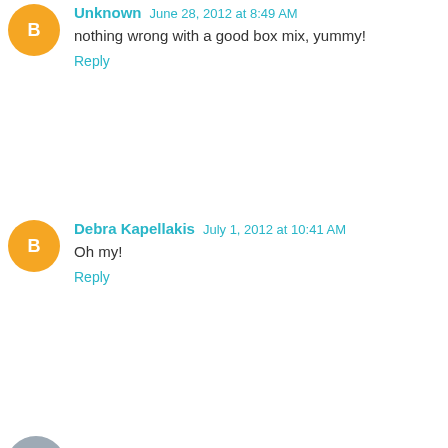Unknown June 28, 2012 at 8:49 AM
nothing wrong with a good box mix, yummy!
Reply
Debra Kapellakis July 1, 2012 at 10:41 AM
Oh my!
Reply
Enter Comment
Home
View web version
Amaro Law Firm
Injured In An Accident?
OPEN